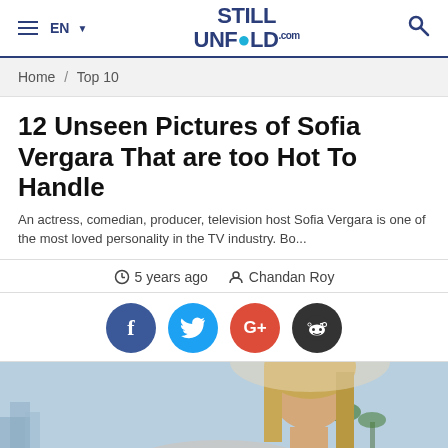≡ EN ▾  STILL UNFOLD.com  🔍
Home / Top 10
12 Unseen Pictures of Sofia Vergara That are too Hot To Handle
An actress, comedian, producer, television host Sofia Vergara is one of the most loved personality in the TV industry. Bo...
⏱ 5 years ago  👤 Chandan Roy
[Figure (infographic): Social share buttons: Facebook (blue), Twitter (cyan), Google+ (red), Reddit (dark gray)]
[Figure (photo): Photo of a woman with blonde hair outdoors, city/palm tree background, partial view cropped at bottom of page]